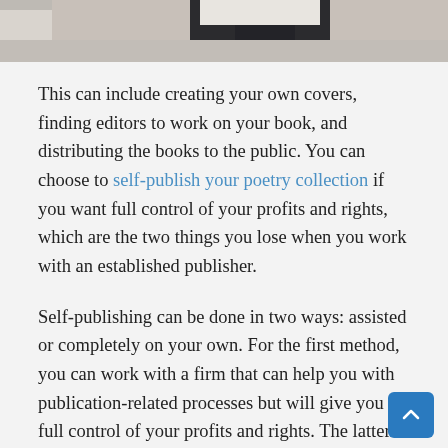[Figure (photo): Bottom portion of a photo showing a person sitting on a couch, visible from waist down wearing dark pants]
This can include creating your own covers, finding editors to work on your book, and distributing the books to the public. You can choose to self-publish your poetry collection if you want full control of your profits and rights, which are the two things you lose when you work with an established publisher.
Self-publishing can be done in two ways: assisted or completely on your own. For the first method, you can work with a firm that can help you with publication-related processes but will give you full control of your profits and rights. The latter method's weight is placed heavily on your shoulders, but you can always seek assistance from freelancers to help you self-publish